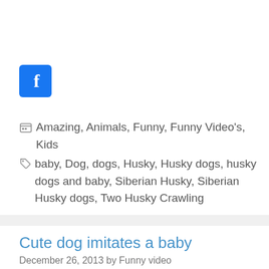[Figure (logo): Facebook logo icon — blue square with white 'f' letter]
Amazing, Animals, Funny, Funny Video's, Kids
baby, Dog, dogs, Husky, Husky dogs, husky dogs and baby, Siberian Husky, Siberian Husky dogs, Two Husky Crawling
Cute dog imitates a baby
December 26, 2013 by Funny video